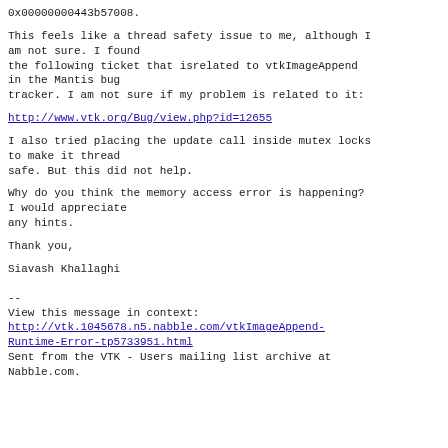0x00000000443b57008.
This feels like a thread safety issue to me, although I am not sure. I found the following ticket that isrelated to vtkImageAppend in the Mantis bug tracker. I am not sure if my problem is related to it:
http://www.vtk.org/Bug/view.php?id=12655
I also tried placing the update call inside mutex locks to make it thread safe. But this did not help.
Why do you think the memory access error is happening? I would appreciate any hints.
Thank you,
Siavash Khallaghi
--
View this message in context:
http://vtk.1045678.n5.nabble.com/vtkImageAppend-Runtime-Error-tp5733951.html
Sent from the VTK - Users mailing list archive at Nabble.com.